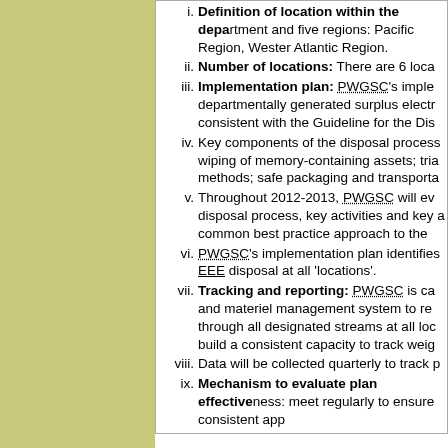i. Definition of location within the department and five regions: Pacific Region, Western Atlantic Region.
ii. Number of locations: There are 6 locations
iii. Implementation plan: PWGSC's implementation of departmentally generated surplus electronics is consistent with the Guideline for the Disposal of...
iv. Key components of the disposal process: wiping of memory-containing assets; trial methods; safe packaging and transportation
v. Throughout 2012-2013, PWGSC will evaluate disposal process, key activities and key a common best practice approach to the
vi. PWGSC's implementation plan identifies EEE disposal at all 'locations'.
vii. Tracking and reporting: PWGSC is capable and materiel management system to report through all designated streams at all locations build a consistent capacity to track weight
viii. Data will be collected quarterly to track
ix. Mechanism to evaluate plan effectiveness: meet regularly to ensure consistent approach
Printing Unit Reduction Target
8.7 By March 31, 2013, each department will employees to printing units. Departments...